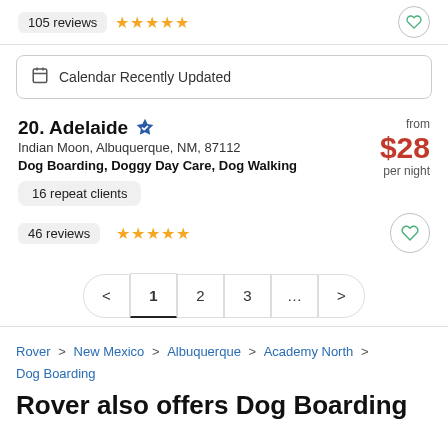105 reviews ★★★★★
Calendar Recently Updated
20. Adelaide — Indian Moon, Albuquerque, NM, 87112 — Dog Boarding, Doggy Day Care, Dog Walking — from $28 per night — 16 repeat clients — 46 reviews ★★★★★
1 2 3 …
Rover > New Mexico > Albuquerque > Academy North > Dog Boarding
Rover also offers Dog Boarding